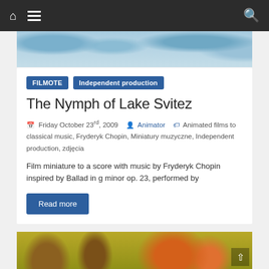Navigation bar with home, menu, and search icons
[Figure (photo): Partial top banner image showing blue watercolor-style waves or abstract background]
FILMOTE   Independent production
The Nymph of Lake Svitez
Friday October 23rd, 2009   Animator   Animated films to classical music, Fryderyk Chopin, Miniatury muzyczne, Independent production, zdjęcia
Film miniature to a score with music by Fryderyk Chopin inspired by Ballad in g minor op. 23, performed by
Read more
[Figure (photo): Partial bottom image showing an illustrated or painted scene with figures on a yellow-green background, orange-haired figure on right]